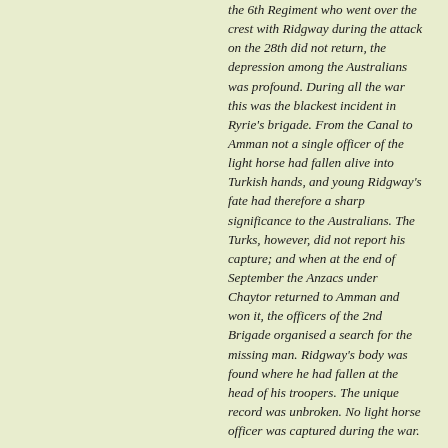the 6th Regiment who went over the crest with Ridgway during the attack on the 28th did not return, the depression among the Australians was profound. During all the war this was the blackest incident in Ryrie's brigade. From the Canal to Amman not a single officer of the light horse had fallen alive into Turkish hands, and young Ridgway's fate had therefore a sharp significance to the Australians. The Turks, however, did not report his capture; and when at the end of September the Anzacs under Chaytor returned to Amman and won it, the officers of the 2nd Brigade organised a search for the missing man. Ridgway's body was found where he had fallen at the head of his troopers. The unique record was unbroken. No light horse officer was captured during the war.